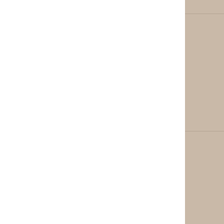| Image | Description | Price | Label |
| --- | --- | --- | --- |
| [album art - dark, small] |  | 21,00EUR | JU... |
| [album art - two figures with robot heads in white suits] |  | 23,00EUR | KO... |
| [album art - Massive Attack flammable diamond logo] |  | 21,00EUR | MA... |
| [album art - Mezzanine by Massive Attack] |  | 27,00EUR | MA... |
| [album art - partial row] |  |  |  |